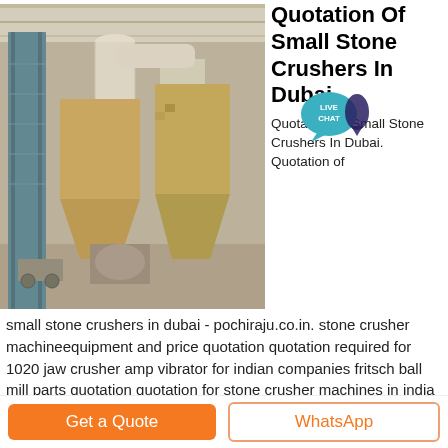[Figure (photo): Industrial stone crusher and dust collection equipment inside a factory building. Shows vertical bucket elevator, cyclone separators, and large conical hoppers on a dusty concrete floor.]
Quotation Of Small Stone Crushers In Dubai
Quotation Of Small Stone Crushers In Dubai. Quotation of small stone crushers in dubai - pochiraju.co.in. stone crusher machineequipment and price quotation quotation required for 1020 jaw crusher amp vibrator for indian companies fritsch ball mill parts quotation quotation for stone crusher machines in india format to send stone crusher quotation quotation of small